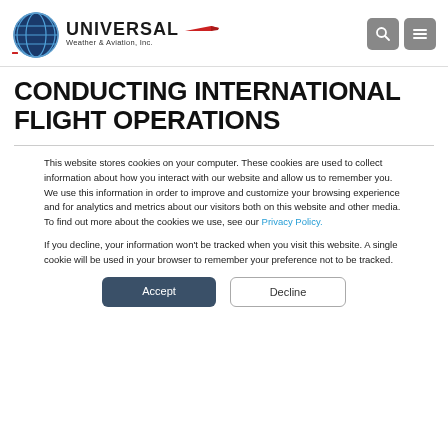[Figure (logo): Universal Weather & Aviation, Inc. logo with globe icon and red airplane silhouette]
CONDUCTING INTERNATIONAL FLIGHT OPERATIONS
This website stores cookies on your computer. These cookies are used to collect information about how you interact with our website and allow us to remember you. We use this information in order to improve and customize your browsing experience and for analytics and metrics about our visitors both on this website and other media. To find out more about the cookies we use, see our Privacy Policy.
If you decline, your information won't be tracked when you visit this website. A single cookie will be used in your browser to remember your preference not to be tracked.